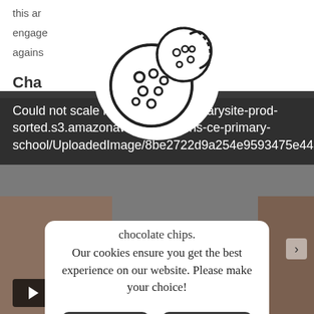this ar
engage                                        ing
agains
Cha
[Figure (screenshot): Cookie consent modal overlay on a school website. Shows a cookie icon (two cookies with chocolate chips), an error message banner reading 'Could not scale image: https://primarysite-prod-sorted.s3.amazonaws.com/criftins-ce-primary-school/UploadedImage/8be2722d9a254e9593475e4414b', text 'chocolate chips.' and 'Our cookies ensure you get the best experience on our website. Please make your choice!', two dark buttons labeled 'Reject all' and 'Accept all', and a link 'I need more information'. Background shows classroom photo.]
chocolate chips.
Our cookies ensure you get the best experience on our website. Please make your choice!
Reject all
Accept all
I need more information